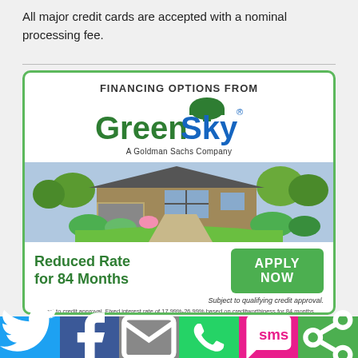All major credit cards are accepted with a nominal processing fee.
[Figure (infographic): GreenSky financing advertisement card with green border, showing GreenSky A Goldman Sachs Company logo, house landscape photo, 'Reduced Rate for 84 Months' text, and 'APPLY NOW' green button with fine print about credit approval and fixed interest rate of 17.99%-26.99% for 84 months.]
[Figure (infographic): Social sharing bar with Twitter, Facebook, Email, WhatsApp, SMS, and Share icons.]